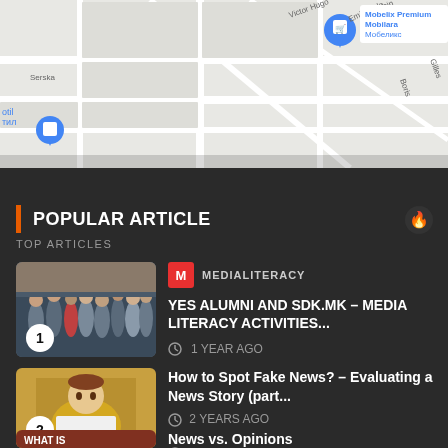[Figure (map): Google Maps screenshot showing streets including Victor Hugo, Emile Zola, Boris, Chopin, Serska, with map pin for Mobelix Premium Mobilara]
POPULAR ARTICLE
TOP ARTICLES
[Figure (photo): Group photo of people standing outside a building]
MEDIALITERACY
YES ALUMNI AND SDK.MK – MEDIA LITERACY ACTIVITIES...
1 YEAR AGO
[Figure (illustration): Illustration of a person reading a document/paper, wearing yellow shirt]
How to Spot Fake News? – Evaluating a News Story (part...
2 YEARS AGO
[Figure (photo): Partial image with text WHAT IS visible]
News vs. Opinions
2 YEARS AGO